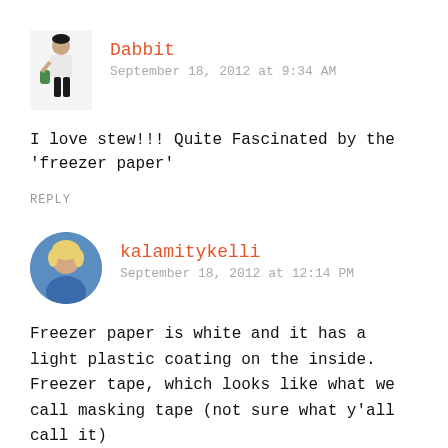[Figure (photo): Small avatar image of user Dabbit — a person standing wearing casual clothes]
Dabbit
September 18, 2012 at 9:34 AM
I love stew!!! Quite Fascinated by the 'freezer paper'
REPLY
[Figure (photo): Round avatar photo of user kalamitykelli — a woman with blonde hair wearing blue]
kalamitykelli
September 18, 2012 at 12:14 PM
Freezer paper is white and it has a light plastic coating on the inside. Freezer tape, which looks like what we call masking tape (not sure what y'all call it)